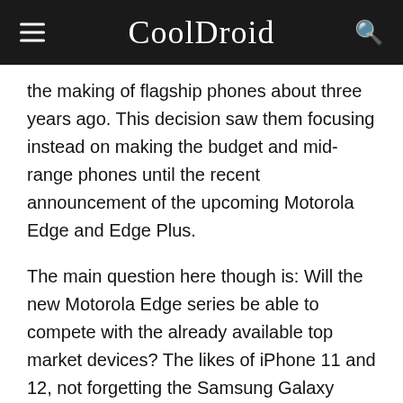CoolDroid
the making of flagship phones about three years ago. This decision saw them focusing instead on making the budget and mid-range phones until the recent announcement of the upcoming Motorola Edge and Edge Plus.
The main question here though is: Will the new Motorola Edge series be able to compete with the already available top market devices? The likes of iPhone 11 and 12, not forgetting the Samsung Galaxy series? Can Motorola beat most of these popular brands in terms of what they can offer to consumers? Let's find out.